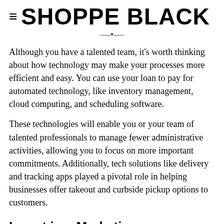≡ SHOPPE BLACK
Although you have a talented team, it's worth thinking about how technology may make your processes more efficient and easy. You can use your loan to pay for automated technology, like inventory management, cloud computing, and scheduling software.
These technologies will enable you or your team of talented professionals to manage fewer administrative activities, allowing you to focus on more important commitments. Additionally, tech solutions like delivery and tracking apps played a pivotal role in helping businesses offer takeout and curbside pickup options to customers.
Invest in a Marketing Strategy